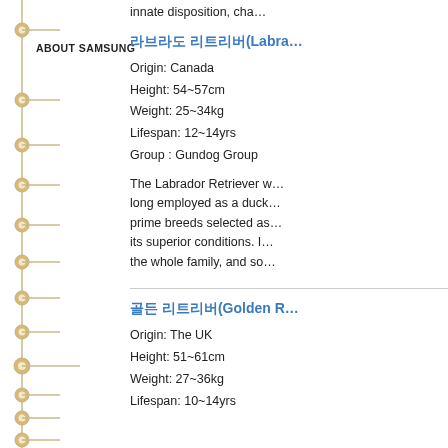ABOUT SAMSUNG
innate disposition, cha…
라브라도 리트리버(Labra…
Origin: Canada
Height: 54~57cm
Weight: 25~34kg
Lifespan: 12~14yrs
Group : Gundog Group
The Labrador Retriever w… long employed as a duck… prime breeds selected as… its superior conditions. I… the whole family, and so…
골든 리트리버(Golden R…
Origin: The UK
Height: 51~61cm
Weight: 27~36kg
Lifespan: 10~14yrs